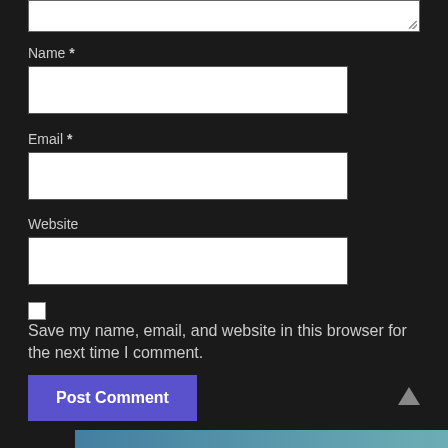[Figure (screenshot): Top portion of a textarea input with a resize handle in the bottom-right corner]
Name *
[Figure (screenshot): Empty text input field for Name]
Email *
[Figure (screenshot): Empty text input field for Email]
Website
[Figure (screenshot): Empty text input field for Website]
Save my name, email, and website in this browser for the next time I comment.
[Figure (screenshot): Post Comment button (blue/purple) on the left and an upward arrow triangle on the right]
[Figure (screenshot): Partial colorful image strip at bottom of page]